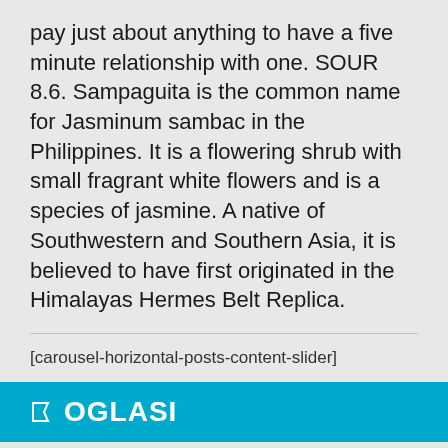pay just about anything to have a five minute relationship with one. SOUR 8.6. Sampaguita is the common name for Jasminum sambac in the Philippines. It is a flowering shrub with small fragrant white flowers and is a species of jasmine. A native of Southwestern and Southern Asia, it is believed to have first originated in the Himalayas Hermes Belt Replica.
[carousel-horizontal-posts-content-slider]
OGLASI
Javni oglasi
Javni pozivi